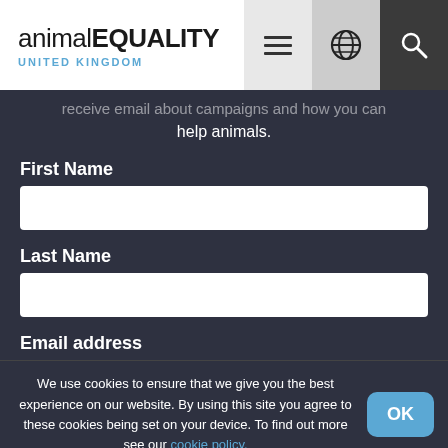animal EQUALITY UNITED KINGDOM
...campaigns and how you can help animals.
First Name
Last Name
Email address
We use cookies to ensure that we give you the best experience on our website. By using this site you agree to these cookies being set on your device. To find out more see our cookie policy.